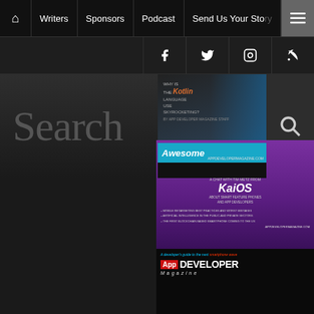Navigation bar: Home | Writers | Sponsors | Podcast | Send Us Your Story | Menu
Social bar: Facebook | Twitter | Instagram | RSS
Search
[Figure (screenshot): App Developer Magazine cover showing Kotlin article and Awesome headline]
[Figure (screenshot): App Developer Magazine cover - KaiOS issue with purple background: Takeaways from CA's Built to Change Summit. A Chat with Tim Metz from KaiOS about smart feature phones and app developers. + Mobile retargeting best practices and worst mistakes + Artificial intelligence in the public and private sectors + The first blockchain based smartphone coming to the US. APPDEVELOPERMAGAZINE.COM]
[Figure (screenshot): App Developer Magazine cover - A developer's guide to the next smartphone wave]